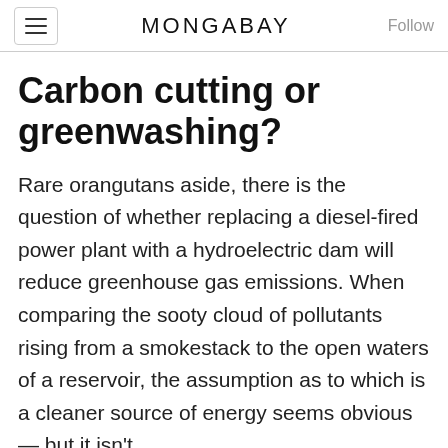MONGABAY
Carbon cutting or greenwashing?
Rare orangutans aside, there is the question of whether replacing a diesel-fired power plant with a hydroelectric dam will reduce greenhouse gas emissions. When comparing the sooty cloud of pollutants rising from a smokestack to the open waters of a reservoir, the assumption as to which is a cleaner source of energy seems obvious — but it isn't.
Studies of dams large and small,